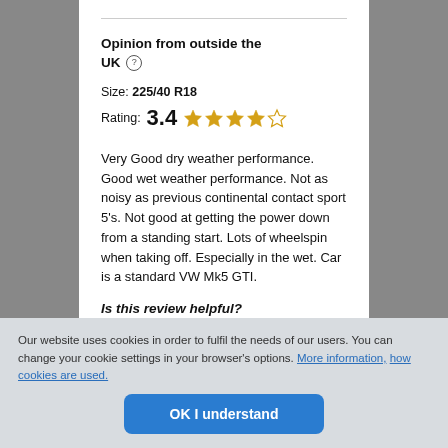Opinion from outside the UK ⓘ
Size: 225/40 R18
Rating: 3.4 ★★★★☆
Very Good dry weather performance. Good wet weather performance. Not as noisy as previous continental contact sport 5's. Not good at getting the power down from a standing start. Lots of wheelspin when taking off. Especially in the wet. Car is a standard VW Mk5 GTI.
Is this review helpful?
Our website uses cookies in order to fulfil the needs of our users. You can change your cookie settings in your browser's options. More information, how cookies are used.
OK I understand